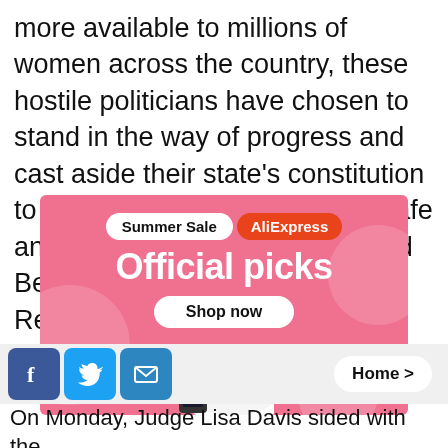more available to millions of women across the country, these hostile politicians have chosen to stand in the way of progress and cast aside their state’s constitution to impose arbitrary barriers on safe and effective birth control,” stated BeBe Anderson of the Center for Reproductive Rights.
[Figure (infographic): AliExpress Summer Sale advertisement banner with pink background, showing 'Summer Sale' pill badge, 'AliExpress' red pill badge, 'Official picks' headline, 'Shop now' button, and product images including a robot vacuum and gaming device.]
On Monday, Judge Lisa Davis sided with the